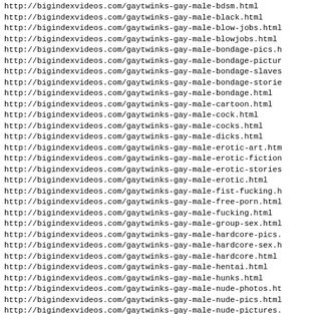http://bigindexvideos.com/gaytwinks-gay-male-bdsm.html
http://bigindexvideos.com/gaytwinks-gay-male-black.html
http://bigindexvideos.com/gaytwinks-gay-male-blow-jobs.html
http://bigindexvideos.com/gaytwinks-gay-male-blowjobs.html
http://bigindexvideos.com/gaytwinks-gay-male-bondage-pics.h
http://bigindexvideos.com/gaytwinks-gay-male-bondage-pictur
http://bigindexvideos.com/gaytwinks-gay-male-bondage-slaves
http://bigindexvideos.com/gaytwinks-gay-male-bondage-storie
http://bigindexvideos.com/gaytwinks-gay-male-bondage.html
http://bigindexvideos.com/gaytwinks-gay-male-cartoon.html
http://bigindexvideos.com/gaytwinks-gay-male-cock.html
http://bigindexvideos.com/gaytwinks-gay-male-cocks.html
http://bigindexvideos.com/gaytwinks-gay-male-dicks.html
http://bigindexvideos.com/gaytwinks-gay-male-erotic-art.htm
http://bigindexvideos.com/gaytwinks-gay-male-erotic-fiction
http://bigindexvideos.com/gaytwinks-gay-male-erotic-stories
http://bigindexvideos.com/gaytwinks-gay-male-erotic.html
http://bigindexvideos.com/gaytwinks-gay-male-fist-fucking.h
http://bigindexvideos.com/gaytwinks-gay-male-free-porn.html
http://bigindexvideos.com/gaytwinks-gay-male-fucking.html
http://bigindexvideos.com/gaytwinks-gay-male-group-sex.html
http://bigindexvideos.com/gaytwinks-gay-male-hardcore-pics.
http://bigindexvideos.com/gaytwinks-gay-male-hardcore-sex.h
http://bigindexvideos.com/gaytwinks-gay-male-hardcore.html
http://bigindexvideos.com/gaytwinks-gay-male-hentai.html
http://bigindexvideos.com/gaytwinks-gay-male-hunks.html
http://bigindexvideos.com/gaytwinks-gay-male-nude-photos.ht
http://bigindexvideos.com/gaytwinks-gay-male-nude-pics.html
http://bigindexvideos.com/gaytwinks-gay-male-nude-pictures.